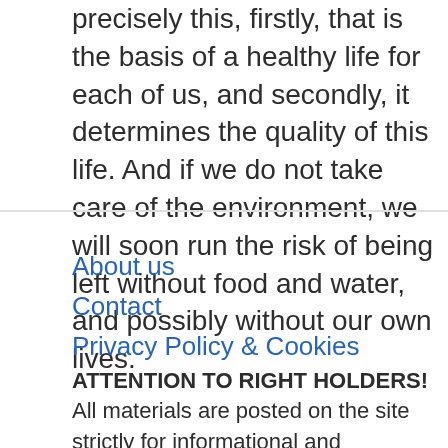precisely this, firstly, that is the basis of a healthy life for each of us, and secondly, it determines the quality of this life. And if we do not take care of the environment, we will soon run the risk of being left without food and water, and possibly without our own lives.
About us
Contact
Privacy Policy & Cookies
ATTENTION TO RIGHT HOLDERS! All materials are posted on the site strictly for informational and educational purposes! If